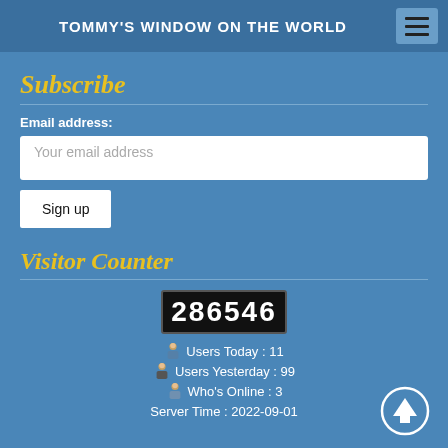TOMMY'S WINDOW ON THE WORLD
Subscribe
Email address:
Your email address
Sign up
Visitor Counter
[Figure (other): Odometer-style visitor counter showing 286546]
Users Today : 11
Users Yesterday : 99
Who's Online : 3
Server Time : 2022-09-01